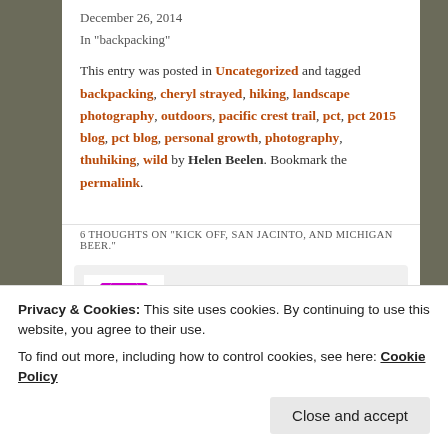December 26, 2014
In "backpacking"
This entry was posted in Uncategorized and tagged backpacking, cheryl strayed, hiking, landscape photography, outdoors, pacific crest trail, pct, pct 2015 blog, pct blog, personal growth, photography, thuhiking, wild by Helen Beelen. Bookmark the permalink.
6 THOUGHTS ON "KICK OFF, SAN JACINTO, AND MICHIGAN BEER."
[Figure (illustration): Purple decorative avatar icon with geometric/snowflake pattern]
Privacy & Cookies: This site uses cookies. By continuing to use this website, you agree to their use. To find out more, including how to control cookies, see here: Cookie Policy